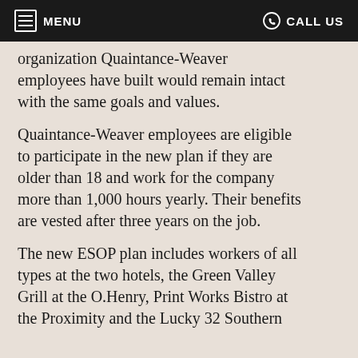MENU   CALL US
organization Quaintance-Weaver employees have built would remain intact with the same goals and values.
Quaintance-Weaver employees are eligible to participate in the new plan if they are older than 18 and work for the company more than 1,000 hours yearly. Their benefits are vested after three years on the job.
The new ESOP plan includes workers of all types at the two hotels, the Green Valley Grill at the O.Henry, Print Works Bistro at the Proximity and the Lucky 32 Southern